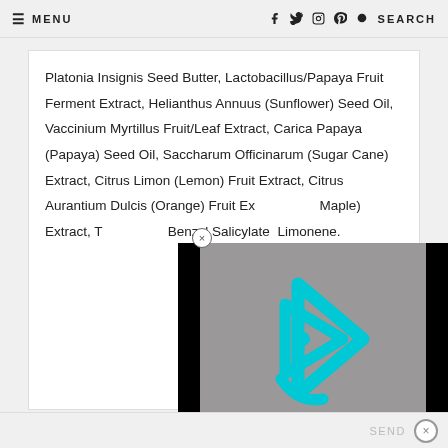≡ MENU   f  t  ◎  ⊕  🔍 SEARCH
Platonia Insignis Seed Butter, Lactobacillus/Papaya Fruit Ferment Extract, Helianthus Annuus (Sunflower) Seed Oil, Vaccinium Myrtillus Fruit/Leaf Extract, Carica Papaya (Papaya) Seed Oil, Saccharum Officinarum (Sugar Cane) Extract, Citrus Limon (Lemon) Fruit Extract, Citrus Aurantium Dulcis (Orange) Fruit Ex[tract], [Sugar] Maple) Extract, T[...], Benzyl Salicylate[...], Limonene.
[Figure (screenshot): Video player overlay with cyan/teal triangular play button logo on grey background, black borders on sides]
SEND  ×